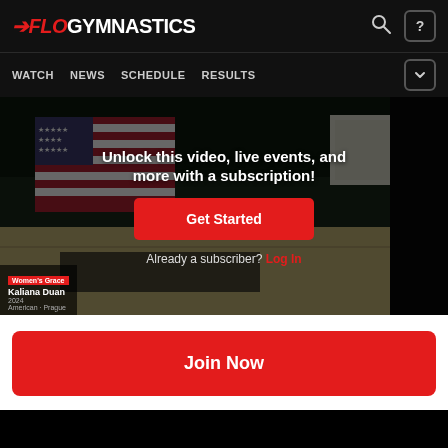FloGymnastics
[Figure (screenshot): FloGymnastics website navigation bar with WATCH, NEWS, SCHEDULE, RESULTS links]
[Figure (screenshot): Gymnastics video still showing American flag and gym floor with subscription overlay: Unlock this video, live events, and more with a subscription! Get Started button. Already a subscriber? Log In. Bottom info shows Women's Grace, Kaliana Duan, 2024, American - Prague]
Unlock this video, live events, and more with a subscription!
Get Started
Already a subscriber? Log In
Join Now